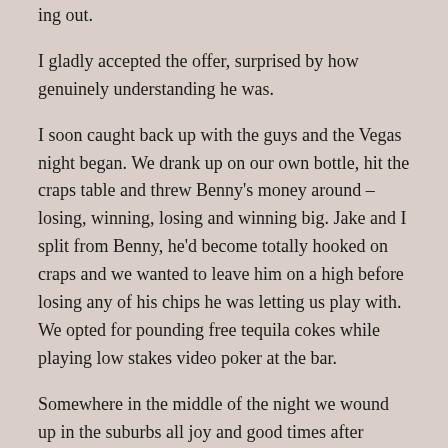ing out.
I gladly accepted the offer, surprised by how genuinely understanding he was.
I soon caught back up with the guys and the Vegas night began. We drank up on our own bottle, hit the craps table and threw Benny's money around – losing, winning, losing and winning big. Jake and I split from Benny, he'd become totally hooked on craps and we wanted to leave him on a high before losing any of his chips he was letting us play with. We opted for pounding free tequila cokes while playing low stakes video poker at the bar.
Somewhere in the middle of the night we wound up in the suburbs all joy and good times after Benny somehow drove us from the strip, pausing in our host's driveway to finish up our singalong with Bohemian Rhapsody that had jumped out at us from the radio.